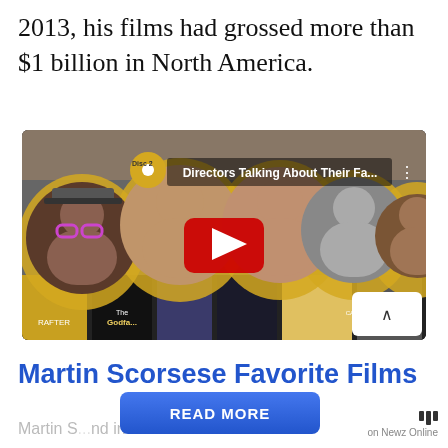2013, his films had grossed more than $1 billion in North America.
[Figure (screenshot): YouTube video thumbnail showing directors including Spike Lee, Quentin Tarantino, and David Lynch with title 'Directors Talking About Their Fa...' and a red play button in the center. Movie posters visible in background including The Godfather and Carrie.]
Martin Scorsese Favorite Films
Martin S... nd in the
READ MORE
on Newz Online